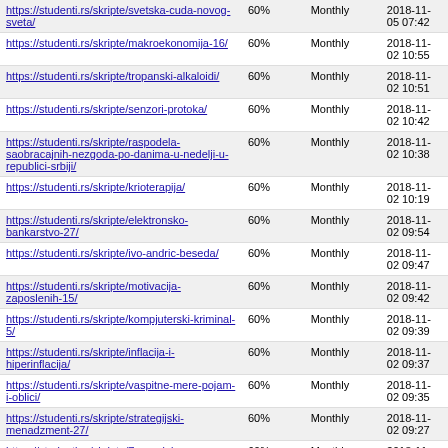| URL | Priority | Change Frequency | Last Modified |
| --- | --- | --- | --- |
| https://studenti.rs/skripte/svetska-cuda-novog-sveta/ | 60% | Monthly | 2018-11-05 07:42 |
| https://studenti.rs/skripte/makroekonomija-16/ | 60% | Monthly | 2018-11-02 10:55 |
| https://studenti.rs/skripte/tropanski-alkaloidi/ | 60% | Monthly | 2018-11-02 10:51 |
| https://studenti.rs/skripte/senzori-protoka/ | 60% | Monthly | 2018-11-02 10:42 |
| https://studenti.rs/skripte/raspodela-saobracajnih-nezgoda-po-danima-u-nedelji-u-republici-srbiji/ | 60% | Monthly | 2018-11-02 10:38 |
| https://studenti.rs/skripte/krioterapija/ | 60% | Monthly | 2018-11-02 10:19 |
| https://studenti.rs/skripte/elektronsko-bankarstvo-27/ | 60% | Monthly | 2018-11-02 09:54 |
| https://studenti.rs/skripte/ivo-andric-beseda/ | 60% | Monthly | 2018-11-02 09:47 |
| https://studenti.rs/skripte/motivacija-zaposlenih-15/ | 60% | Monthly | 2018-11-02 09:42 |
| https://studenti.rs/skripte/kompjuterski-kriminal-5/ | 60% | Monthly | 2018-11-02 09:39 |
| https://studenti.rs/skripte/inflacija-i-hiperinflacija/ | 60% | Monthly | 2018-11-02 09:37 |
| https://studenti.rs/skripte/vaspitne-mere-pojam-i-oblici/ | 60% | Monthly | 2018-11-02 09:35 |
| https://studenti.rs/skripte/strategijski-menadzment-27/ | 60% | Monthly | 2018-11-02 09:27 |
| https://studenti.rs/skripte/7s-model-organizacije/ | 60% | Monthly | 2018-11-02 08:45 |
| https://studenti.rs/skripte/opsti-sistemi-upravljanja/ | 60% | Monthly | 2018-11-02 08:38 |
| https://studenti.rs/skripte/salmonela/ | 60% | Monthly | 2018-11-02 08:30 |